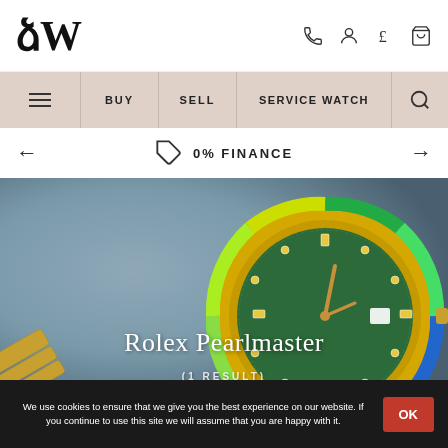LW — luxury watch retailer header with phone, account, currency, and cart icons
≡  BUY  SELL  SERVICE WATCH  🔍
🏷 0% FINANCE
[Figure (photo): Rolex Pearlmaster watch with green dial, diamond hour markers, and multicolor gemstone bezel set in yellow gold on a jubilee bracelet, photographed on a blue-grey gradient background.]
Rolex Pearlmaster
(1 RESULT)
We use cookies to ensure that we give you the best experience on our website. If you continue to use this site we will assume that you are happy with it.